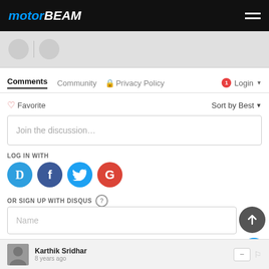MOTORBEAM
[Figure (screenshot): Gray banner strip with partial social icons below the header]
Comments | Community | Privacy Policy | 1 | Login
♡ Favorite   Sort by Best ▾
Join the discussion…
LOG IN WITH
[Figure (logo): Social login icons: Disqus (D), Facebook (f), Twitter bird, Google (G)]
OR SIGN UP WITH DISQUS ?
Name
Karthik Sridhar
8 years ago